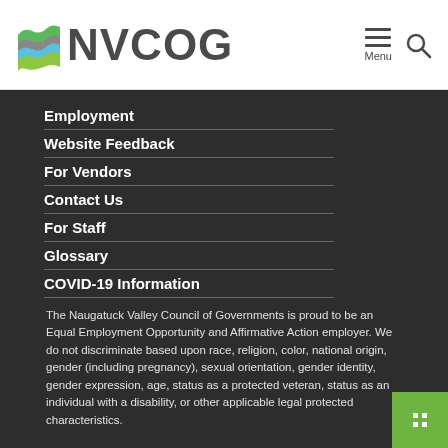[Figure (logo): NVCOG logo with wave graphic and text]
Employment
Website Feedback
For Vendors
Contact Us
For Staff
Glossary
COVID-19 Information
The Naugatuck Valley Council of Governments is proud to be an Equal Employment Opportunity and Affirmative Action employer. We do not discriminate based upon race, religion, color, national origin, gender (including pregnancy), sexual orientation, gender identity, gender expression, age, status as a protected veteran, status as an individual with a disability, or other applicable legal protected characteristics.